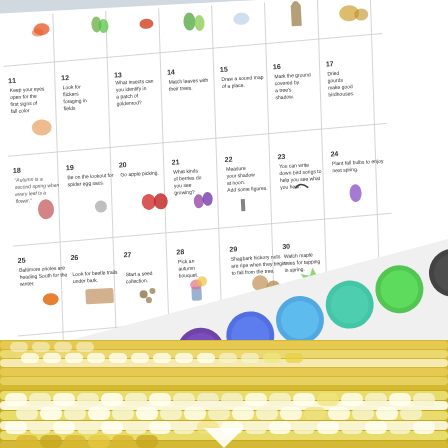[Figure (photo): Collage of three images: top portion shows a nature activity bingo/scavenger hunt chart with numbered cells (11-30) containing small watercolor illustrations of autumn nature activities such as watching birds, identifying insects, matching leaves, picking apples, planting bulbs, etc. Middle portion shows colorful open paint pots/watercolor palette arranged diagonally. Bottom portion shows a close-up photo of fresh yellow and white corn on the cob.]